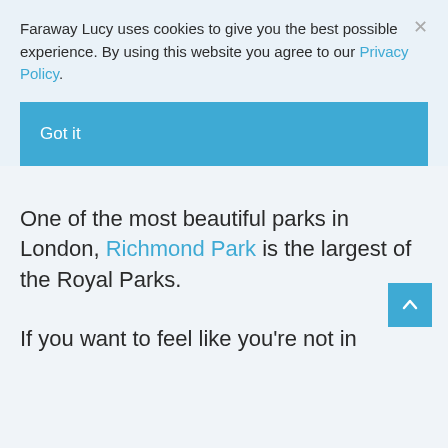Faraway Lucy uses cookies to give you the best possible experience. By using this website you agree to our Privacy Policy.
Got it
One of the most beautiful parks in London, Richmond Park is the largest of the Royal Parks.
If you want to feel like you're not in